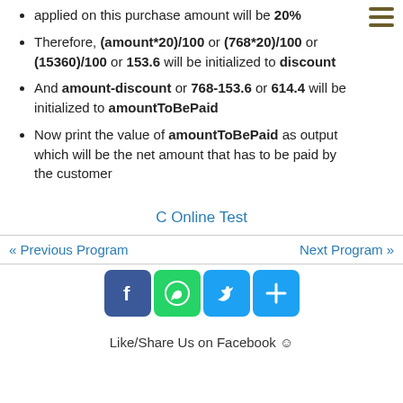applied on this purchase amount will be 20%
Therefore, (amount*20)/100 or (768*20)/100 or (15360)/100 or 153.6 will be initialized to discount
And amount-discount or 768-153.6 or 614.4 will be initialized to amountToBePaid
Now print the value of amountToBePaid as output which will be the net amount that has to be paid by the customer
C Online Test
« Previous Program    Next Program »
[Figure (infographic): Social share buttons: Facebook (blue), WhatsApp (green), Twitter (light blue), Share/More (light blue)]
Like/Share Us on Facebook 😊